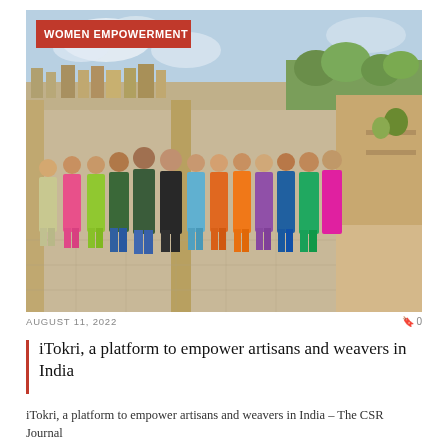[Figure (photo): Group photo of artisans and weavers on a rooftop terrace with a cityscape and greenery in the background. A red badge reading 'WOMEN EMPOWERMENT' is overlaid on the top-left corner of the photo.]
AUGUST 11, 2022   0
iTokri, a platform to empower artisans and weavers in India
iTokri, a platform to empower artisans and weavers in India – The CSR Journal